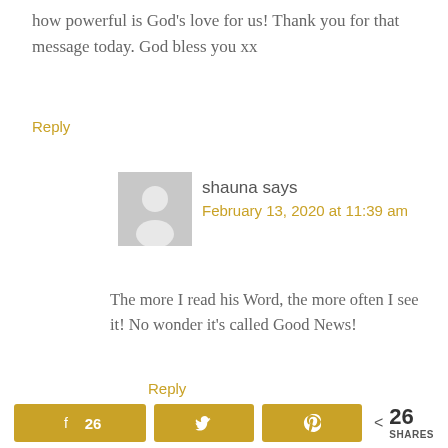how powerful is God’s love for us! Thank you for that message today. God bless you xx
Reply
shauna says
February 13, 2020 at 11:39 am
The more I read his Word, the more often I see it! No wonder it’s called Good News!
Reply